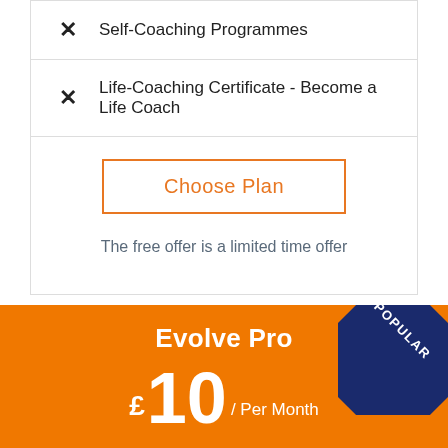✕ Self-Coaching Programmes
✕ Life-Coaching Certificate - Become a Life Coach
Choose Plan
The free offer is a limited time offer
Evolve Pro
£10 / Per Month
POPULAR